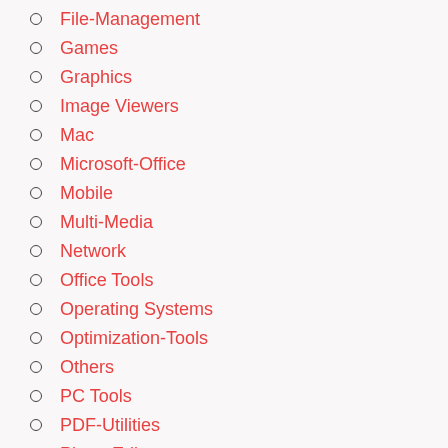File-Management
Games
Graphics
Image Viewers
Mac
Microsoft-Office
Mobile
Multi-Media
Network
Office Tools
Operating Systems
Optimization-Tools
Others
PC Tools
PDF-Utilities
Photo Editor…